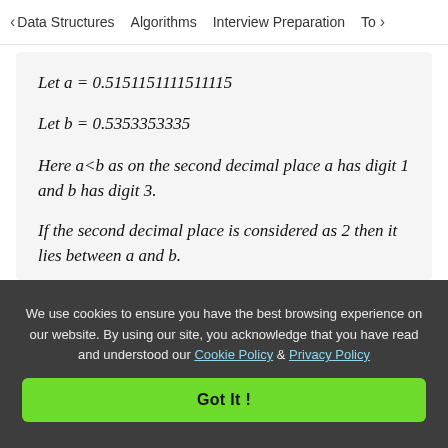< Data Structures   Algorithms   Interview Preparation   To>
Here a<b as on the second decimal place a has digit 1 and b has digit 3.
If the second decimal place is considered as 2 then it lies between a and b.
and y = 0.530530
We use cookies to ensure you have the best browsing experience on our website. By using our site, you acknowledge that you have read and understood our Cookie Policy & Privacy Policy
Got It !